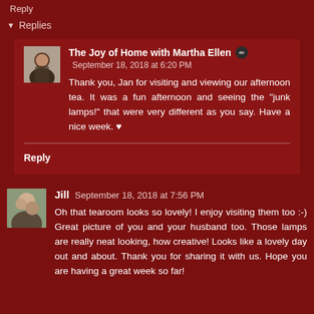Reply
Replies
The Joy of Home with Martha Ellen
September 18, 2018 at 6:20 PM
Thank you, Jan for visiting and viewing our afternoon tea. It was a fun afternoon and seeing the "junk lamps!" that were very different as you say. Have a nice week. ♥
Reply
Jill September 18, 2018 at 7:56 PM
Oh that tearoom looks so lovely! I enjoy visiting them too :-) Great picture of you and your husband too. Those lamps are really neat looking, how creative! Looks like a lovely day out and about. Thank you for sharing it with us. Hope you are having a great week so far!